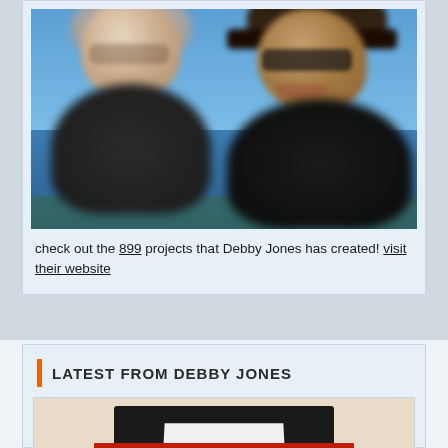[Figure (photo): Outdoor photo of two older adults against a blue sky background. On the left is a person with white/gray hair and glasses. On the right is a person wearing a dark cap and sunglasses, smiling.]
check out the 899 projects that Debby Jones has created! visit their website
LATEST FROM DEBBY JONES
[Figure (photo): Preview image of a craft project featuring black and red geometric shapes on a light background.]